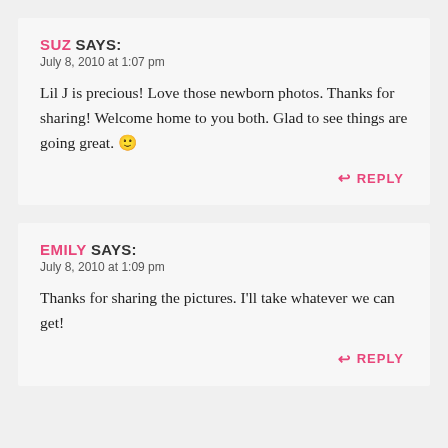SUZ SAYS:
July 8, 2010 at 1:07 pm
Lil J is precious! Love those newborn photos. Thanks for sharing! Welcome home to you both. Glad to see things are going great. 🙂
↩ REPLY
EMILY SAYS:
July 8, 2010 at 1:09 pm
Thanks for sharing the pictures. I'll take whatever we can get!
↩ REPLY